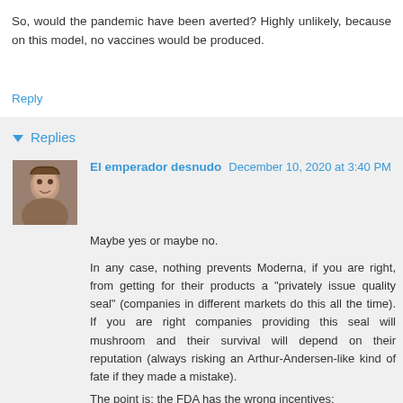So, would the pandemic have been averted? Highly unlikely, because on this model, no vaccines would be produced.
Reply
▾ Replies
El emperador desnudo December 10, 2020 at 3:40 PM
Maybe yes or maybe no.
In any case, nothing prevents Moderna, if you are right, from getting for their products a "privately issue quality seal" (companies in different markets do this all the time). If you are right companies providing this seal will mushroom and their survival will depend on their reputation (always risking an Arthur-Andersen-like kind of fate if they made a mistake).
The point is: the FDA has the wrong incentives: